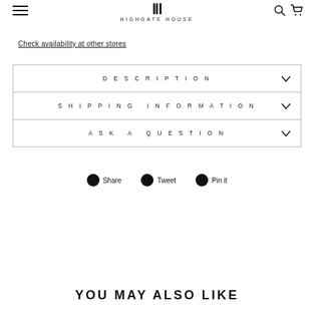HIGHGATE HOUSE
Check availability at other stores
DESCRIPTION
SHIPPING INFORMATION
ASK A QUESTION
Share  Tweet  Pin it
YOU MAY ALSO LIKE